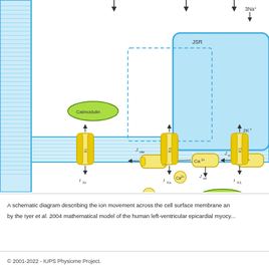[Figure (schematic): Partial schematic diagram of ion movement across the cell surface membrane and intracellular compartments (JSR, dashed subspace region). Shows ion channels (IKr, IKs, IK1), transporters, Ca2+ handling with Calmodulin, Troponin, Calsequestrin proteins, flux labels Jxfer, Jrel, Jtr, Jtrpn, and 3Na+/2K+ pump components. Yellow channel proteins embedded in blue lipid bilayer membrane.]
A schematic diagram describing the ion movement across the cell surface membrane and by the Iyer et al. 2004 mathematical model of the human left-ventricular epicardial myocy...
© 2001-2022 - IUPS Physiome Project.